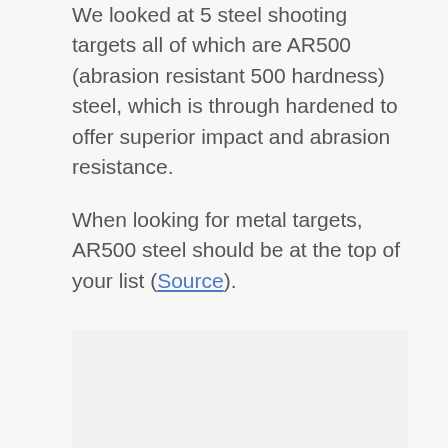We looked at 5 steel shooting targets all of which are AR500 (abrasion resistant 500 hardness) steel, which is through hardened to offer superior impact and abrasion resistance.
When looking for metal targets, AR500 steel should be at the top of your list (Source).